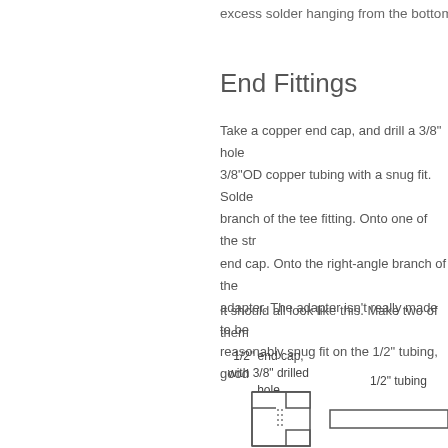excess solder hanging from the bottom of th
End Fittings
Take a copper end cap, and drill a 3/8" hole 3/8"OD copper tubing with a snug fit. Solder branch of the tee fitting. Onto one of the straight end cap. Onto the right-angle branch of the adapter. The adapter isn't really made to be reasonably snug fit on the 1/2" tubing, good
It should all look like this. Make two of them
[Figure (engineering-diagram): Cross-section diagram of a 1/2 inch end cap with 3/8 inch drilled hole on the left, connected to 1/2 inch tubing on the right. The end cap is shown as a stepped rectangular profile with dotted lines indicating the drilled hole. The tubing is shown as a long rectangle.]